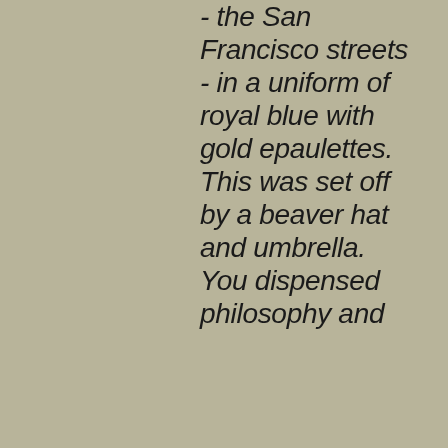- the San Francisco streets - in a uniform of royal blue with gold epaulettes. This was set off by a beaver hat and umbrella. You dispensed philosophy and